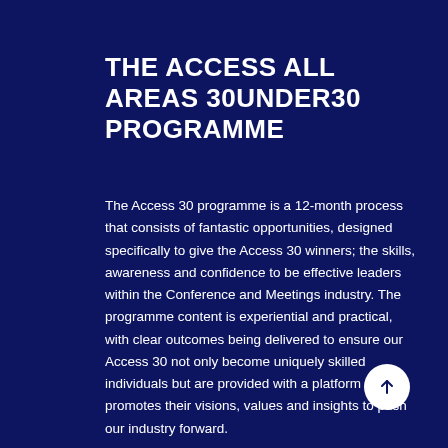THE ACCESS ALL AREAS 30UNDER30 PROGRAMME
The Access 30 programme is a 12-month process that consists of fantastic opportunities, designed specifically to give the Access 30 winners; the skills, awareness and confidence to be effective leaders within the Conference and Meetings industry. The programme content is experiential and practical, with clear outcomes being delivered to ensure our Access 30 not only become uniquely skilled individuals but are provided with a platform that promotes their visions, values and insights to push our industry forward.